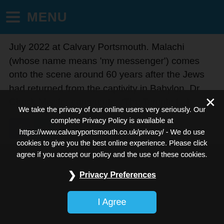MENU
July 2022 at Calvary Portsmouth. Malachi (whose name means 'my messenger') comes onto the scene around 60 years after the Jews had returned from the captivity in Babylon. Dr Chuck Missler comments: "The Temple [...]
We take the privacy of our online users very seriously. Our complete Privacy Policy is available at https://www.calvaryportsmouth.co.uk/privacy/ - We do use cookies to give you the best online experience. Please click agree if you accept our policy and the use of these cookies.
Privacy Preferences
I Agree